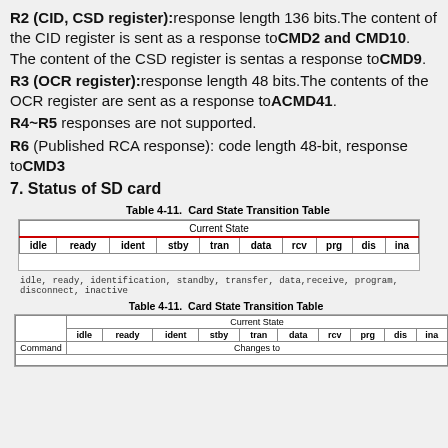R2 (CID, CSD register):response length 136 bits. The content of the CID register is sent as a response to CMD2 and CMD10. The content of the CSD register is sentas a response to CMD9.
R3 (OCR register):response length 48 bits. The contents of the OCR register are sent as a response to ACMD41.
R4~R5 responses are not supported.
R6 (Published RCA response): code length 48-bit, response to CMD3
7. Status of SD card
Table 4-11.  Card State Transition Table
| idle | ready | ident | stby | tran | data | rcv | prg | dis | ina |
| --- | --- | --- | --- | --- | --- | --- | --- | --- | --- |
idle, ready, identification, standby, transfer, data, receive, program, disconnect, inactive
Table 4-11.  Card State Transition Table
|  | idle | ready | ident | stby | tran | data | rcv | prg | dis | ina |
| --- | --- | --- | --- | --- | --- | --- | --- | --- | --- | --- |
| Command | Changes to |